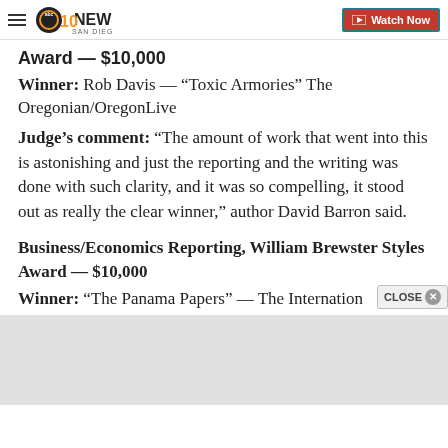10 NEWS SAN DIEGO | Watch Now
Award — $10,000
Winner: Rob Davis — “Toxic Armories” The Oregonian/OregonLive
Judge’s comment: "The amount of work that went into this is astonishing and just the reporting and the writing was done with such clarity, and it was so compelling, it stood out as really the clear winner," author David Barron said.
Business/Economics Reporting, William Brewster Styles Award — $10,000
Winner: “The Panama Papers” — The Internation